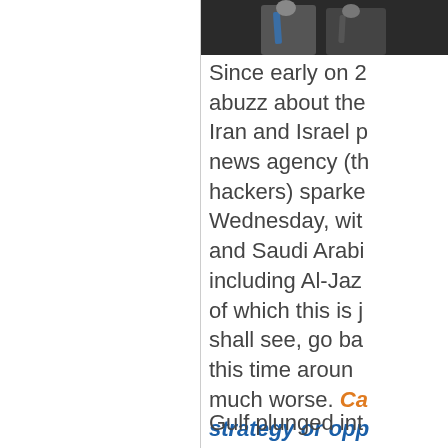[Figure (photo): Partial photo of two people in suits at the top right corner of the page]
Since early on 2 abuzz about the Iran and Israel p news agency (th hackers) sparke Wednesday, wit and Saudi Arabi including Al-Jaz of which this is j shall see, go ba this time aroun much worse. Ca strategy or opp
Gulf plunged int